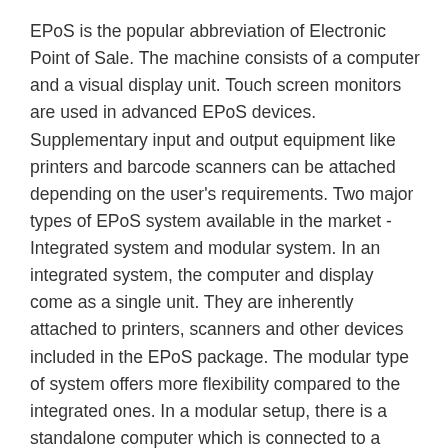EPoS is the popular abbreviation of Electronic Point of Sale. The machine consists of a computer and a visual display unit. Touch screen monitors are used in advanced EPoS devices. Supplementary input and output equipment like printers and barcode scanners can be attached depending on the user's requirements. Two major types of EPoS system available in the market - Integrated system and modular system. In an integrated system, the computer and display come as a single unit. They are inherently attached to printers, scanners and other devices included in the EPoS package. The modular type of system offers more flexibility compared to the integrated ones. In a modular setup, there is a standalone computer which is connected to a special visual display unit and other peripheral devices.
Functionality
Many functions can be integrated into your EPoS system so as to facilitate multiple utilities at a single point, such as magento POS/EPOS systems in Achanelid. Some of the common hardware peripherals incorporated into an EPoS unit includes printers, barcode scanners, weighing scales, chip and pin, mobile